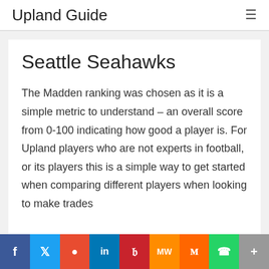Upland Guide
Seattle Seahawks
The Madden ranking was chosen as it is a simple metric to understand – an overall score from 0-100 indicating how good a player is. For Upland players who are not experts in football, or its players this is a simple way to get started when comparing different players when looking to make trades